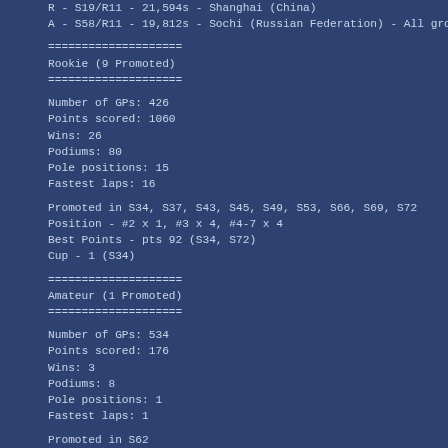R - S19/R11 - 21,594s - Shanghai (China)
A - S58/R11 - 19,812s - Sochi (Russian Federation) - All groups Amateur
====================
Rookie (9 Promoted)
====================
Number of GPs: 426
Points scored: 1060
Wins: 26
Podiums: 80
Pole positions: 15
Fastest laps: 16
Promoted in S34, S37, S43, S45, S49, S53, S66, S69, S72
Position - #2 x 1, #3 x 4, #4-7 x 4
Best Points - pts 92 (S34, S72)
Cup - 1 (S34)
====================
Amateur (1 Promoted)
====================
Number of GPs: 534
Points scored: 176
Wins: 3
Podiums: 8
Pole positions: 1
Fastest laps: 1
Promoted in S62
Position - #2 x 1
Best Points - pts 71 (S62)
Cup - 0
====================
Best Promoted to Amateur (next 12 seasons): 9 Ama + 1 Pro + 2 Ama
====================
Season: 53
Money: $23,495,810